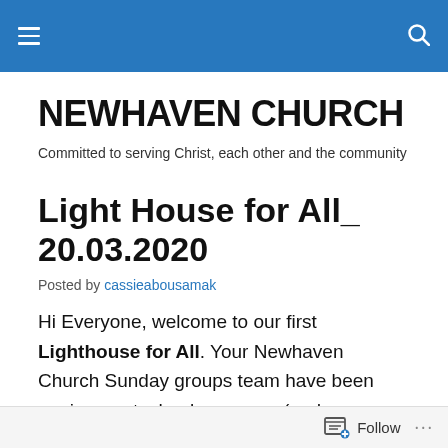Navigation bar with hamburger menu and search icon
NEWHAVEN CHURCH
Committed to serving Christ, each other and the community
Light House for All_ 20.03.2020
Posted by cassieabousamak
Hi Everyone, welcome to our first Lighthouse for All. Your Newhaven Church Sunday groups team have been upping our technology game (and our own confidence) to bring you something personal from us each Sunday while we are not able to meet together. Although, initially thought
Follow ...